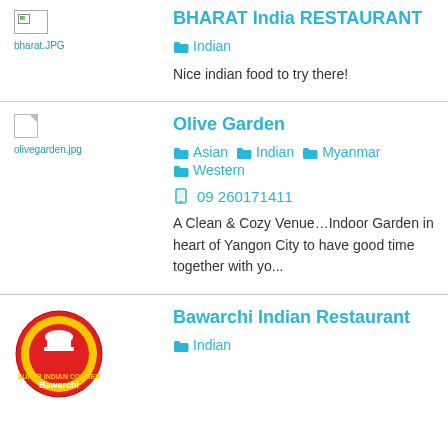[Figure (photo): Broken image placeholder labeled bharat.JPG]
BHARAT India RESTAURANT
Indian
Nice indian food to try there!
[Figure (photo): Broken image placeholder labeled olivegarden.jpg]
Olive Garden
Asian  Indian  Myanmar  Western
09 260171411
A Clean & Cozy Venue…Indoor Garden in heart of Yangon City to have good time together with yo...
[Figure (logo): Bawarchi Indian Restaurant circular logo in red and yellow]
Bawarchi Indian Restaurant
Indian